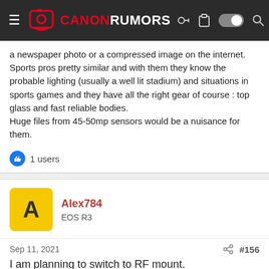Canon Rumors
a newspaper photo or a compressed image on the internet. Sports pros pretty similar and with them they know the probable lighting (usually a well lit stadium) and situations in sports games and they have all the right gear of course : top glass and fast reliable bodies.
Huge files from 45-50mp sensors would be a nuisance for them.
1 users
Alex784
EOS R3
Sep 11, 2021  #156
I am planning to switch to RF mount.
Should I trade-in my 1DX3 now or wait for R1 ?
1 user